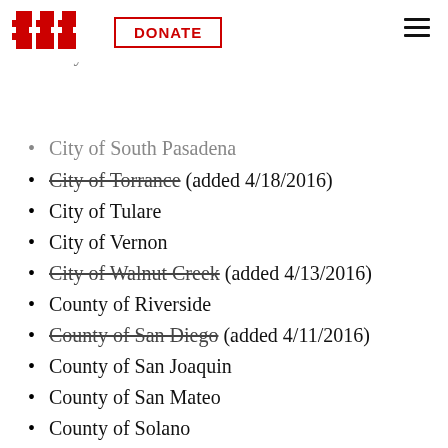EFF | DONATE (button) | hamburger menu
City of Seal Beach
City of South Gate
City of South Pasadena
City of Torrance (added 4/18/2016)
City of Tulare
City of Vernon
City of Walnut Creek (added 4/13/2016)
County of Riverside
County of San Diego (added 4/11/2016)
County of San Joaquin
County of San Mateo
County of Solano
County of Stanislaus
CSU Long Beach
East Bay Regional Parks
Port of Los Angeles
San Jose/Evergreen Community College District Police Department
Town of Los Gatos